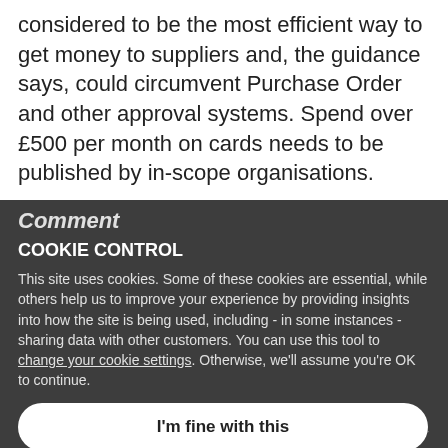considered to be the most efficient way to get money to suppliers and, the guidance says, could circumvent Purchase Order and other approval systems. Spend over £500 per month on cards needs to be published by in-scope organisations.
Comment
COOKIE CONTROL
This site uses cookies. Some of these cookies are essential, while others help us to improve your experience by providing insights into how the site is being used, including - in some instances - sharing data with other customers. You can use this tool to change your cookie settings. Otherwise, we'll assume you're OK to continue.
Whilst this guidance will be welcomed, contracting authorities, whether in the law, their own policies as to fundamental data, will often make payments to suppliers. The importance of monitoring for procurement fraud, cyber attacks